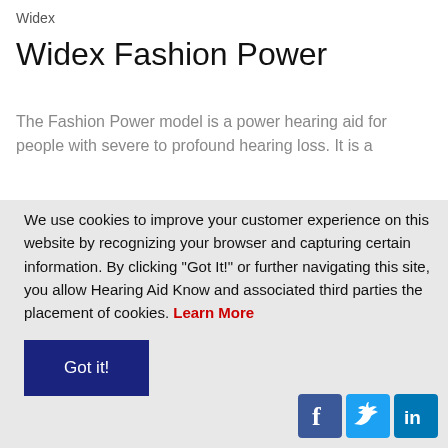Widex
Widex Fashion Power
The Fashion Power model is a power hearing aid for people with severe to profound hearing loss. It is a
We use cookies to improve your customer experience on this website by recognizing your browser and capturing certain information. By clicking “Got It!” or further navigating this site, you allow Hearing Aid Know and associated third parties the placement of cookies. Learn More
Got it!